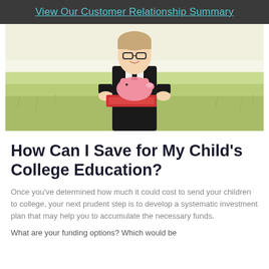View Our Customer Relationship Summary
[Figure (photo): Young teenage boy in a black suit and tie, wearing glasses, standing in a green field, holding a pink piggy bank on top of red books, smiling at the camera.]
How Can I Save for My Child’s College Education?
Once you’ve determined how much it could cost to send your children to college, your next prudent step is to develop a systematic investment plan that may help you to accumulate the necessary funds.
What are your funding options? Which would be